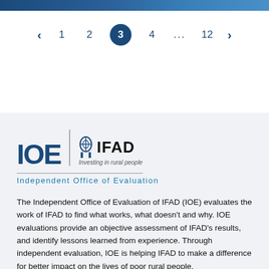< 1 2 3 4 ... 12 >
[Figure (logo): IOE | IFAD Investing in rural people logo with Independent Office of Evaluation subtitle]
The Independent Office of Evaluation of IFAD (IOE) evaluates the work of IFAD to find what works, what doesn't and why. IOE evaluations provide an objective assessment of IFAD's results, and identify lessons learned from experience. Through independent evaluation, IOE is helping IFAD to make a difference for better impact on the lives of poor rural people.